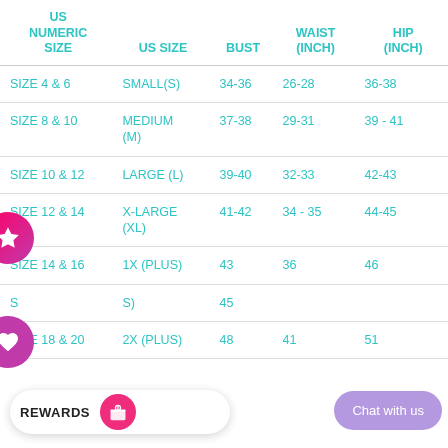| US NUMERIC SIZE | US SIZE | BUST | WAIST (inch) | HIP (inch) |
| --- | --- | --- | --- | --- |
| SIZE 4 & 6 | SMALL(S) | 34-36 | 26-28 | 36-38 |
| SIZE 8 & 10 | MEDIUM (M) | 37-38 | 29-31 | 39 - 41 |
| SIZE 10 & 12 | LARGE (L) | 39-40 | 32-33 | 42-43 |
| SIZE 12 & 14 | X-LARGE (XL) | 41-42 | 34 - 35 | 44-45 |
| SIZE 14 & 16 | 1X (PLUS) | 43 | 36 | 46 |
| S... | ...(S) | 45 |  |  |
| SIZE 18 & 20 | 2X (PLUS) | 48 | 41 | 51 |